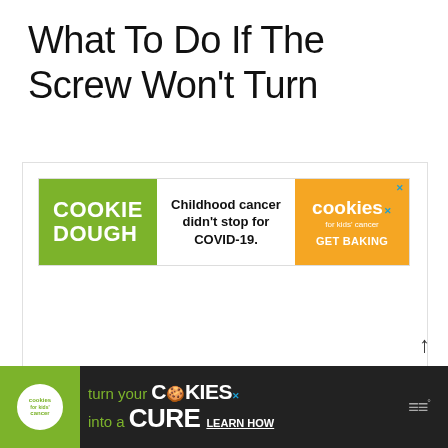What To Do If The Screw Won't Turn
[Figure (screenshot): Advertisement banner for Cookies for Kids Cancer: green left panel with 'COOKIE DOUGH' text, white middle panel with 'Childhood cancer didn't stop for COVID-19.', orange right panel with cookies logo and 'GET BAKING' CTA]
[Figure (screenshot): Bottom advertisement banner with dark background for Cookies for Kids Cancer: 'turn your COOKIES into a CURE LEARN HOW']